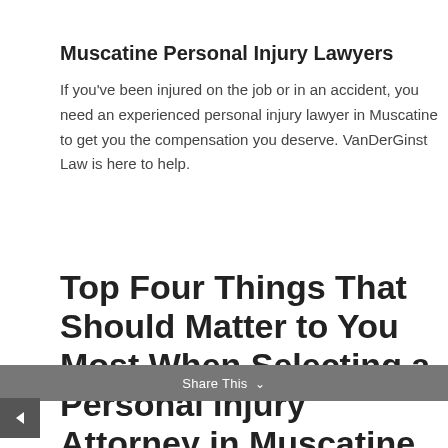Muscatine Personal Injury Lawyers
If you've been injured on the job or in an accident, you need an experienced personal injury lawyer in Muscatine to get you the compensation you deserve. VanDerGinst Law is here to help.
Top Four Things That Should Matter to You Most When Selecting a Personal Injury Attorney in Muscatine
Share This